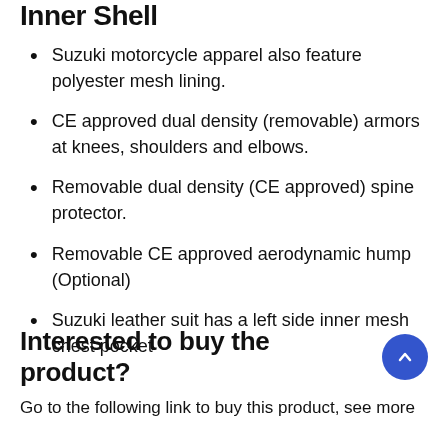Inner Shell
Suzuki motorcycle apparel also feature polyester mesh lining.
CE approved dual density (removable) armors at knees, shoulders and elbows.
Removable dual density (CE approved) spine protector.
Removable CE approved aerodynamic hump (Optional)
Suzuki leather suit has a left side inner mesh chest pocket
Interested to buy the product?
Go to the following link to buy this product, see more